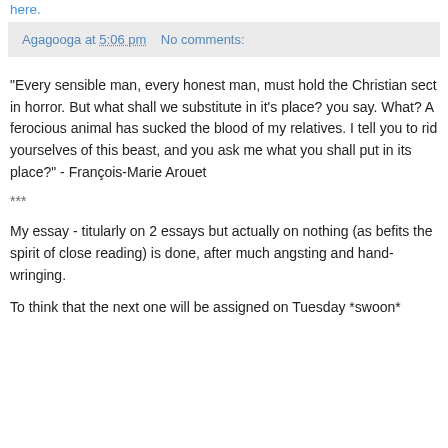here.
Agagooga at 5:06 pm    No comments:
"Every sensible man, every honest man, must hold the Christian sect in horror. But what shall we substitute in it's place? you say. What? A ferocious animal has sucked the blood of my relatives. I tell you to rid yourselves of this beast, and you ask me what you shall put in its place?" - François-Marie Arouet
***
My essay - titularly on 2 essays but actually on nothing (as befits the spirit of close reading) is done, after much angsting and hand-wringing.
To think that the next one will be assigned on Tuesday *swoon*